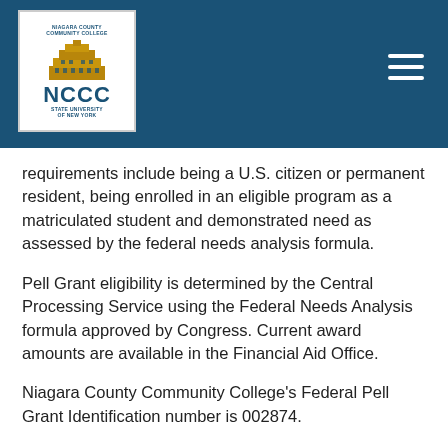[Figure (logo): Niagara County Community College (NCCC) logo with building illustration and SUNY affiliation text on a white background, set in a dark blue header bar]
requirements include being a U.S. citizen or permanent resident, being enrolled in an eligible program as a matriculated student and demonstrated need as assessed by the federal needs analysis formula.
Pell Grant eligibility is determined by the Central Processing Service using the Federal Needs Analysis formula approved by Congress. Current award amounts are available in the Financial Aid Office.
Niagara County Community College's Federal Pell Grant Identification number is 002874.
Federal Supplemental Educational